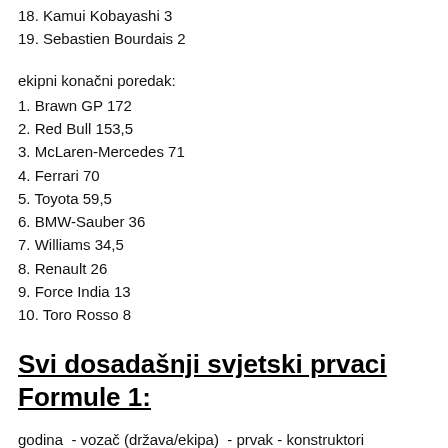18. Kamui Kobayashi 3
19. Sebastien Bourdais 2
ekipni konačni poredak:
1. Brawn GP 172
2. Red Bull 153,5
3. McLaren-Mercedes 71
4. Ferrari 70
5. Toyota 59,5
6. BMW-Sauber 36
7. Williams 34,5
8. Renault 26
9. Force India 13
10. Toro Rosso 8
Svi dosadašnji svjetski prvaci Formule 1:
godina  - vozač (država/ekipa)  - prvak - konstruktori